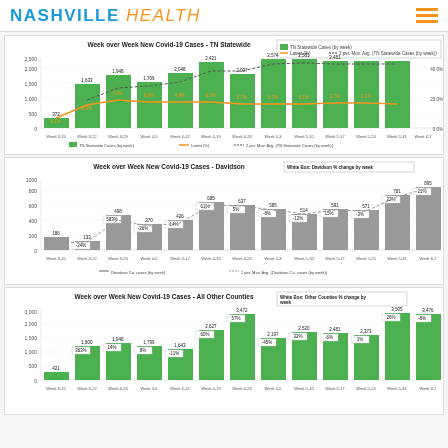NASHVILLE Health
[Figure (bar-chart): Week over Week New Covid-19 Cases - TN Statewide]
[Figure (bar-chart): Week over Week New Covid-19 Cases - Davidson]
[Figure (bar-chart): Week over Week New Covid-19 Cases - All Other Counties]